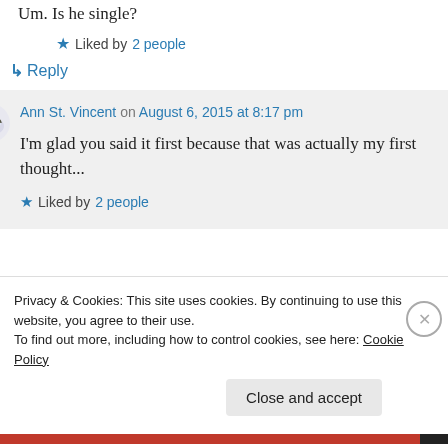Um. Is he single?
Liked by 2 people
Reply
Ann St. Vincent on August 6, 2015 at 8:17 pm
I'm glad you said it first because that was actually my first thought...
Liked by 2 people
Privacy & Cookies: This site uses cookies. By continuing to use this website, you agree to their use.
To find out more, including how to control cookies, see here: Cookie Policy
Close and accept